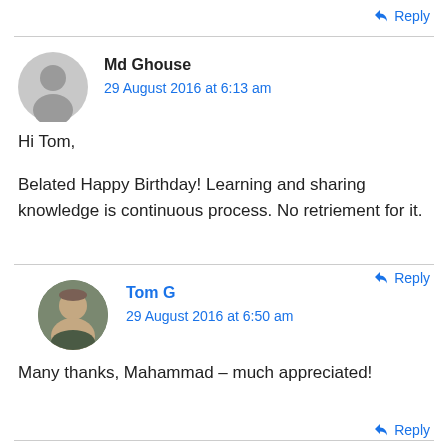↩ Reply
Md Ghouse
29 August 2016 at 6:13 am
Hi Tom,
Belated Happy Birthday! Learning and sharing knowledge is continuous process. No retriement for it.
↩ Reply
Tom G
29 August 2016 at 6:50 am
Many thanks, Mahammad – much appreciated!
↩ Reply